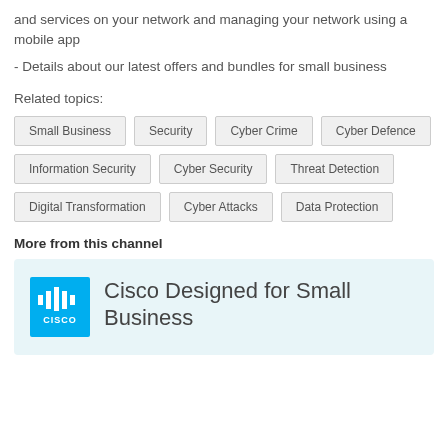and services on your network and managing your network using a mobile app
- Details about our latest offers and bundles for small business
Related topics:
Small Business | Security | Cyber Crime | Cyber Defence | Information Security | Cyber Security | Threat Detection | Digital Transformation | Cyber Attacks | Data Protection
More from this channel
[Figure (logo): Cisco logo - blue square with white bars and CISCO text, alongside text: Cisco Designed for Small Business]